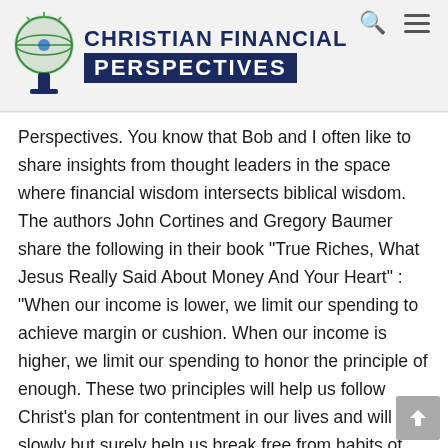Christian Financial Perspectives
Perspectives. You know that Bob and I often like to share insights from thought leaders in the space where financial wisdom intersects biblical wisdom. The authors John Cortines and Gregory Baumer share the following in their book "True Riches, What Jesus Really Said About Money And Your Heart" : "When our income is lower, we limit our spending to achieve margin or cushion. When our income is higher, we limit our spending to honor the principle of enough. These two principles will help us follow Christ's plan for contentment in our lives and will slowly but surely help us break free from habits of coveting. This supports the theory that we can easily go from debtor or spender to saver. And if we're not careful, this can verge on coveting, coveting of our stuff as a spender and coveting of money as a saver." In chapter four in their book titled "From Anxiety To Trust",